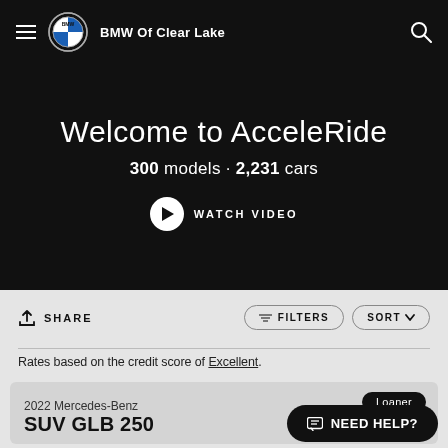BMW Of Clear Lake
Welcome to AcceleRide
300 models · 2,231 cars
WATCH VIDEO
SHARE
FILTERS
SORT
Rates based on the credit score of Excellent.
Loaner
2022 Mercedes-Benz
SUV GLB 250
NEED HELP?